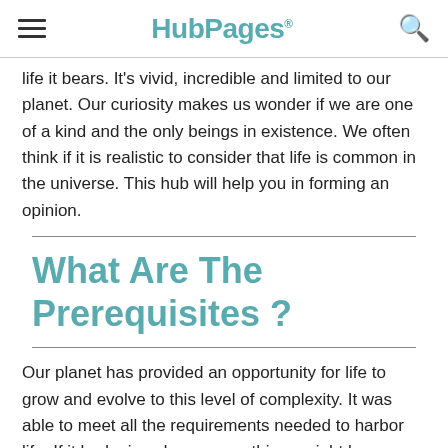HubPages
life it bears. It's vivid, incredible and limited to our planet. Our curiosity makes us wonder if we are one of a kind and the only beings in existence. We often think if it is realistic to consider that life is common in the universe. This hub will help you in forming an opinion.
What Are The Prerequisites ?
Our planet has provided an opportunity for life to grow and evolve to this level of complexity. It was able to meet all the requirements needed to harbor life. If it had missed even one, things might have been different today. There are a lot of factors that determine if a planet can be a good candidate